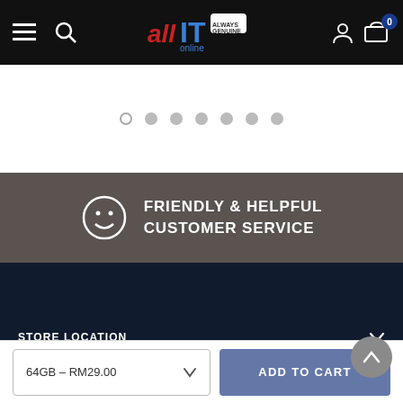allIT online — navigation bar with hamburger menu, search, logo, user icon, cart (0)
[Figure (screenshot): Carousel pagination dots: one outlined circle followed by six filled grey circles]
FRIENDLY & HELPFUL CUSTOMER SERVICE
STORE LOCATION
CUSTOMER CARE
GENERAL INFO
64GB – RM29.00
ADD TO CART